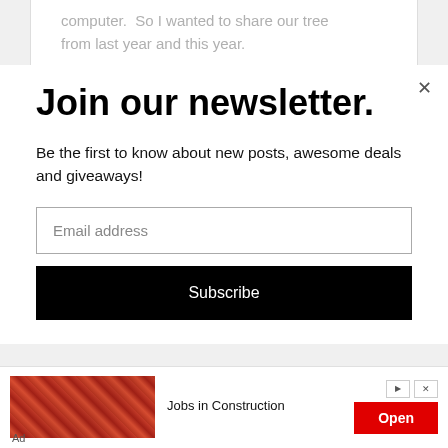computer.  So I wanted to share our tree from last year and this year.
Join our newsletter.
Be the first to know about new posts, awesome deals and giveaways!
Email address
Subscribe
[Figure (screenshot): Advertisement banner: Jobs in Construction with an Open button]
Ad